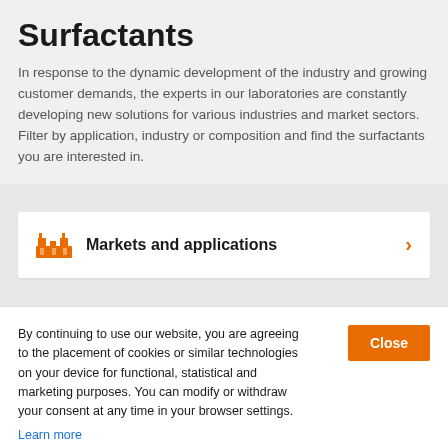Surfactants
In response to the dynamic development of the industry and growing customer demands, the experts in our laboratories are constantly developing new solutions for various industries and market sectors. Filter by application, industry or composition and find the surfactants you are interested in.
[Figure (infographic): Card with factory/markets icon and text 'Markets and applications' with orange right arrow chevron]
By continuing to use our website, you are agreeing to the placement of cookies or similar technologies on your device for functional, statistical and marketing purposes. You can modify or withdraw your consent at any time in your browser settings.
Learn more